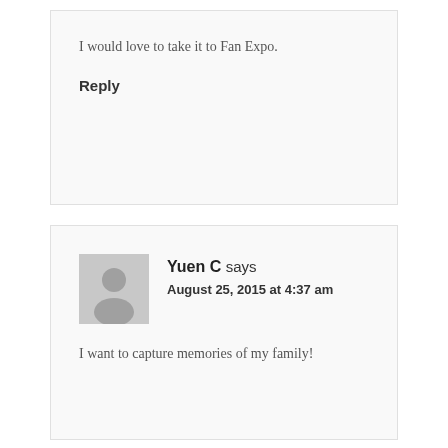I would love to take it to Fan Expo.
Reply
Yuen C says
August 25, 2015 at 4:37 am
I want to capture memories of my family!